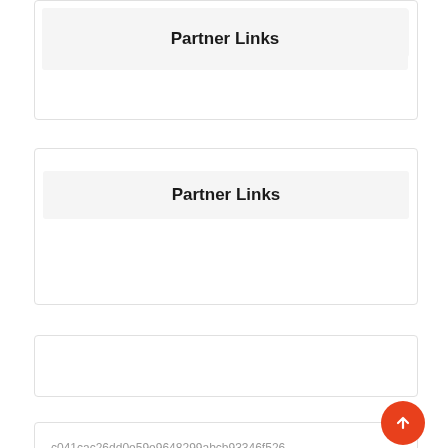Partner Links
Partner Links
c041cac26dd0e59e9648299abcb93346f526...